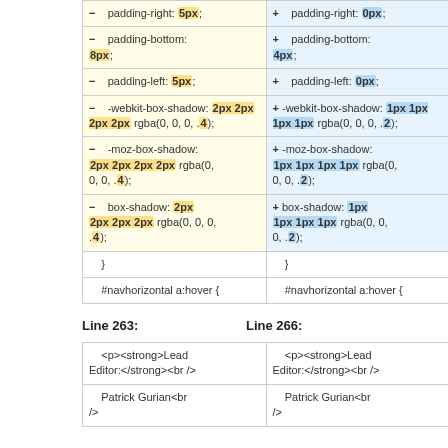| Left (Line 263) | Right (Line 266) |
| --- | --- |
| - padding-right: 5px; | + padding-right: 0px; |
| - padding-bottom: 8px; | + padding-bottom: 4px; |
| - padding-left: 5px; | + padding-left: 0px; |
| - -webkit-box-shadow: 2px 2px 2px 2px rgba(0, 0, 0, .4); | + -webkit-box-shadow: 1px 1px 1px 1px rgba(0, 0, 0, .2); |
| - -moz-box-shadow: 2px 2px 2px 2px rgba(0, 0, 0, .4); | + -moz-box-shadow: 1px 1px 1px 1px rgba(0, 0, 0, .2); |
| - box-shadow: 2px 2px 2px 2px rgba(0, 0, 0, .4); | + box-shadow: 1px 1px 1px 1px rgba(0, 0, 0, .2); |
| } | } |
| #navhorizontal a:hover { | #navhorizontal a:hover { |
Line 263:
Line 266:
| Left | Right |
| --- | --- |
| <p><strong>Lead Editor:</strong><br /> | <p><strong>Lead Editor:</strong><br /> |
| Patrick Gurian<br /> | Patrick Gurian<br /> |